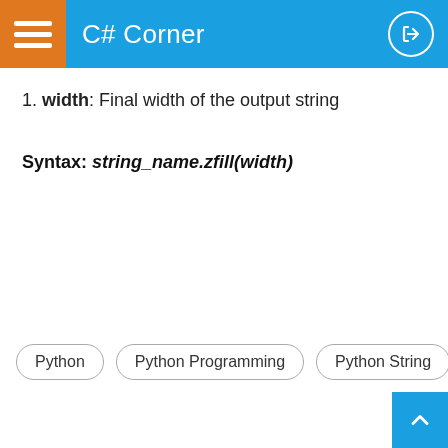C# Corner
1. width: Final width of the output string
Syntax: string_name.zfill(width)
Python
Python Programming
Python String